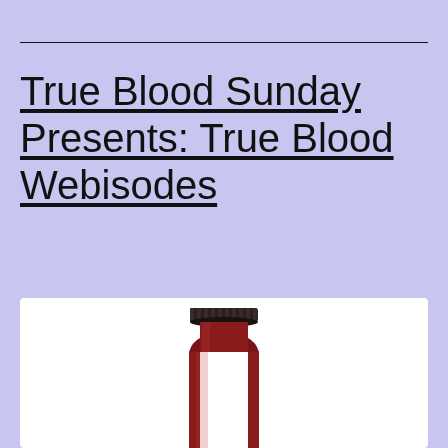True Blood Sunday Presents: True Blood Webisodes
[Figure (photo): A red glass bottle with a dark metal screw cap, cropped to show just the top portion of the bottle against a white background.]